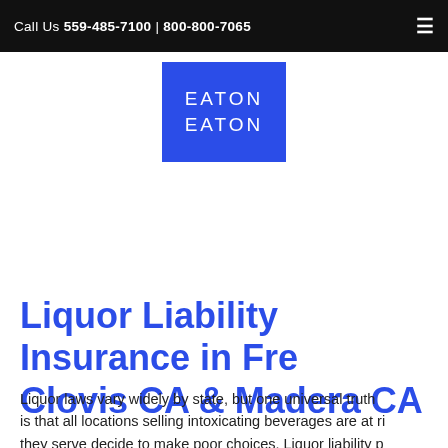Call Us 559-485-7100 | 800-800-7065
[Figure (logo): Eaton Eaton logo — white text on blue square background]
Liquor Liability Insurance in Fresno, Clovis CA & Madera CA
Liquor laws vary widely by state, but one universal truth is that all locations selling intoxicating beverages are at risk if they serve decide to make poor choices. Liquor liability p... specifically that the coverage helps protect against d...